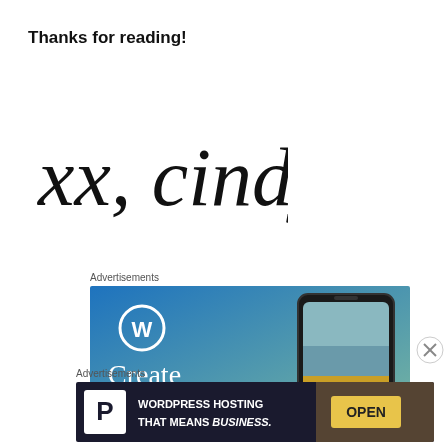Thanks for reading!
[Figure (illustration): Handwritten script signature reading 'xx, cindy' in black brush lettering]
Advertisements
[Figure (screenshot): WordPress advertisement banner with blue gradient background, WordPress logo (W in circle), a smartphone showing 'VISITING SKOGAFOSS', and text 'Create immersive']
Advertisements
[Figure (screenshot): WordPress hosting advertisement on dark background with P logo, text 'WORDPRESS HOSTING THAT MEANS BUSINESS.' and a photo of an OPEN sign]